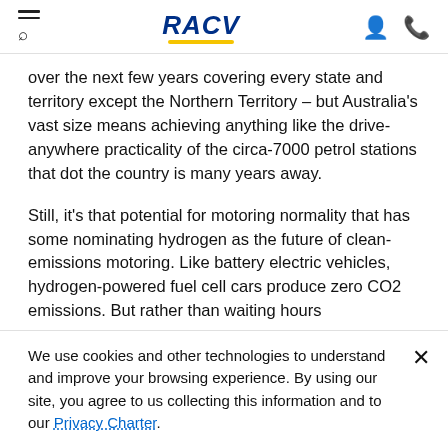RACV
over the next few years covering every state and territory except the Northern Territory – but Australia's vast size means achieving anything like the drive-anywhere practicality of the circa-7000 petrol stations that dot the country is many years away.
Still, it's that potential for motoring normality that has some nominating hydrogen as the future of clean-emissions motoring. Like battery electric vehicles, hydrogen-powered fuel cell cars produce zero CO2 emissions. But rather than waiting hours
We use cookies and other technologies to understand and improve your browsing experience. By using our site, you agree to us collecting this information and to our Privacy Charter.